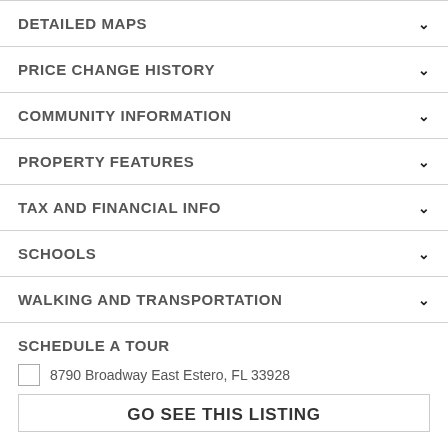DETAILED MAPS
PRICE CHANGE HISTORY
COMMUNITY INFORMATION
PROPERTY FEATURES
TAX AND FINANCIAL INFO
SCHOOLS
WALKING AND TRANSPORTATION
SCHEDULE A TOUR
8790 Broadway East Estero, FL 33928
GO SEE THIS LISTING